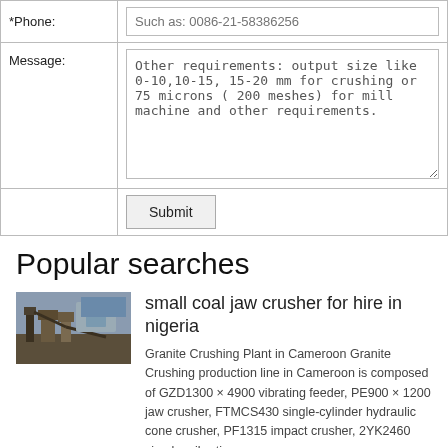| *Phone: | Such as: 0086-21-58386256 |
| Message: | Other requirements: output size like 0-10,10-15, 15-20 mm for crushing or 75 microns ( 200 meshes) for mill machine and other requirements. |
|  | Submit |
Popular searches
[Figure (photo): Thumbnail image of a coal jaw crusher or granite crushing plant machinery]
small coal jaw crusher for hire in nigeria
Granite Crushing Plant in Cameroon Granite Crushing production line in Cameroon is composed of GZD1300 × 4900 vibrating feeder, PE900 × 1200 jaw crusher, FTMCS430 single-cylinder hydraulic cone crusher, PF1315 impact crusher, 2YK2460 circular vibrating screen